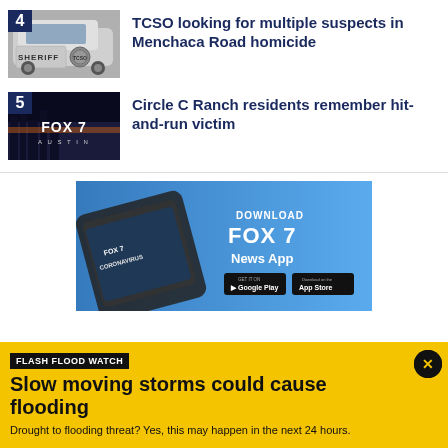[Figure (photo): Sheriff vehicle door with badge, numbered item 4]
TCSO looking for multiple suspects in Menchaca Road homicide
[Figure (logo): FOX 7 Austin logo on dark city background, numbered item 5]
Circle C Ranch residents remember hit-and-run victim
[Figure (infographic): Download FOX 7 News App advertisement banner with phone showing Coronavirus headline, Google Play and App Store buttons]
FLASH FLOOD WATCH
Slow moving storms could cause flooding
Drought to flooding threat? Yes, this may happen in the next 24 hours.